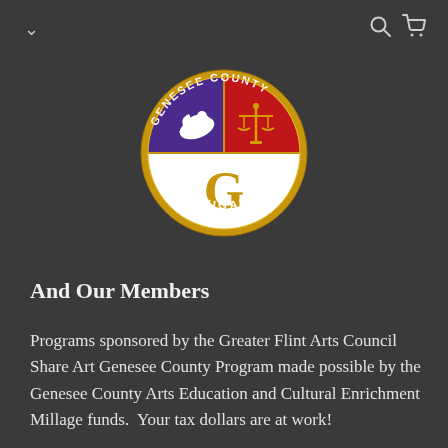[Figure (logo): Genesee County Michigan official seal/logo. A circular badge with gold border. The circle is divided into three sections: upper-left purple section with a white dove, upper-right red section with gold scales of justice, and lower white section with a large gold letter G. Text around the outside reads GENESEE COUNTY at the top and MICHIGAN at the bottom.]
And Our Members
Programs sponsored by the Greater Flint Arts Council Share Art Genesee County Program made possible by the Genesee County Arts Education and Cultural Enrichment Millage funds.  Your tax dollars are at work!